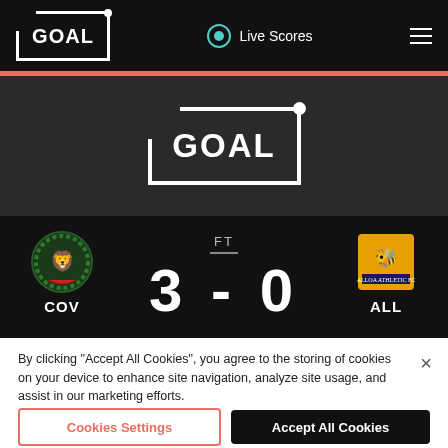GOAL - Live Scores
[Figure (logo): GOAL logo centered on dark background section]
[Figure (infographic): Football match score: COV 3 - 0 ALL, Full Time result]
F. Fyvie (57)
F. Fyvie (83)
H. Milne (89)
By clicking "Accept All Cookies", you agree to the storing of cookies on your device to enhance site navigation, analyze site usage, and assist in our marketing efforts.
Cookies Settings | Accept All Cookies